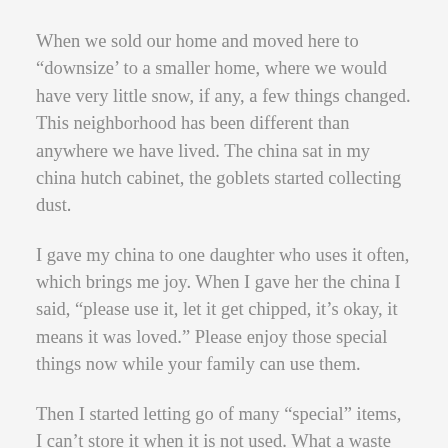When we sold our home and moved here to “downsize’ to a smaller home, where we would have very little snow, if any, a few things changed. This neighborhood has been different than anywhere we have lived. The china sat in my china hutch cabinet, the goblets started collecting dust.
I gave my china to one daughter who uses it often, which brings me joy. When I gave her the china I said, “please use it, let it get chipped, it’s okay, it means it was loved.” Please enjoy those special things now while your family can use them.
Then I started letting go of many “special” items, I can’t store it when it is not used. What a waste when family members can use it. My granddaughters who are over 20 years of age now are thrilled to set their table like grandma used to